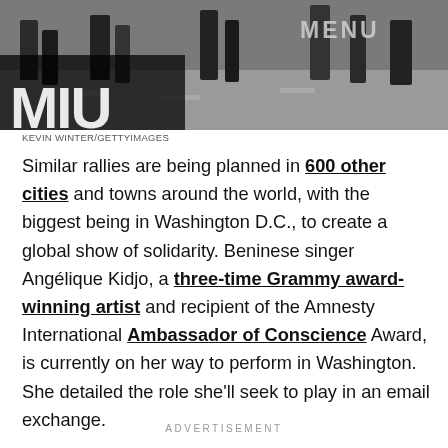[Figure (photo): Street scene photo showing people's legs and feet on pavement, with a website logo overlay and MENU text in top right corner. Photo credit: KEVIN WINTER/GETTYIMAGES]
KEVIN WINTER/GETTYIMAGES
Similar rallies are being planned in 600 other cities and towns around the world, with the biggest being in Washington D.C., to create a global show of solidarity. Beninese singer Angélique Kidjo, a three-time Grammy award-winning artist and recipient of the Amnesty International Ambassador of Conscience Award, is currently on her way to perform in Washington. She detailed the role she'll seek to play in an email exchange.
ADVERTISEMENT